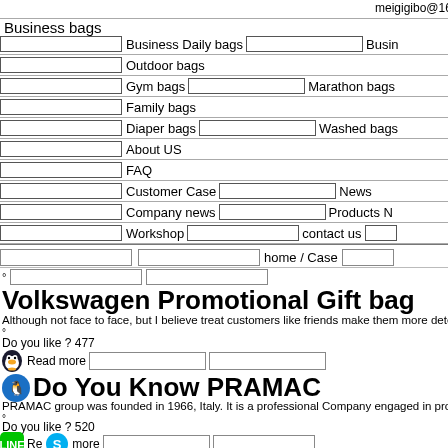meigigibo@163.com +86 19930048337 Home Products
Business bags
Business Daily bags   Busin...
Outdoor bags
Gym bags   Marathon bags
Family bags
Diaper bags   Washed bags
About US
FAQ
Customer Case   News
Company news   Products N...
Workshop   contact us
home / Case
Volkswagen Promotional Gift bag
Although not face to face, but I believe treat customers like friends make them more dete...
Do you like ? 477
Read more
Do You Know PRAMAC
PRAMAC group was founded in 1966, Italy. It is a professional Company engaged in pro...
Do you like ? 520
Read more
ROYAL CANIN